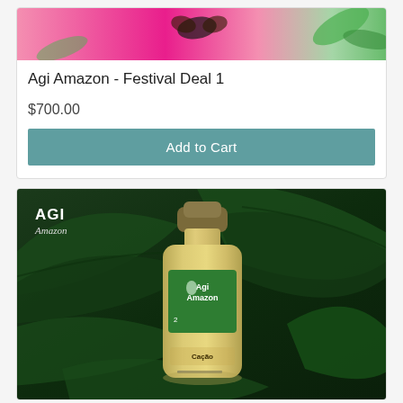[Figure (photo): Product image top - festival deal promotional photo with colorful pink background and decorative items]
Agi Amazon - Festival Deal 1
$700.00
Add to Cart
[Figure (photo): Product image - AGI Amazon hair product bottle (yellow/cream colored bottle with green label) on dark green tropical leaves background with AGI Amazon branding text]